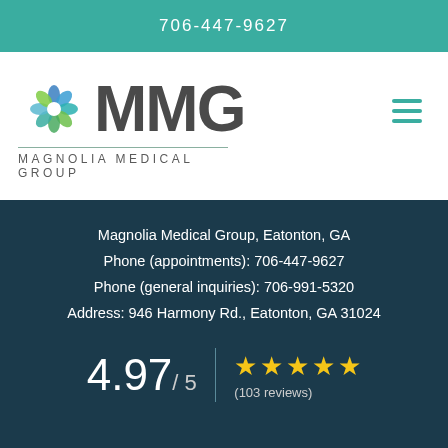706-447-9627
[Figure (logo): Magnolia Medical Group logo with spiral icon and MMG text]
Magnolia Medical Group, Eatonton, GA
Phone (appointments): 706-447-9627
Phone (general inquiries): 706-991-5320
Address: 946 Harmony Rd., Eatonton, GA 31024
4.97 / 5  ★★★★★  (103 reviews)